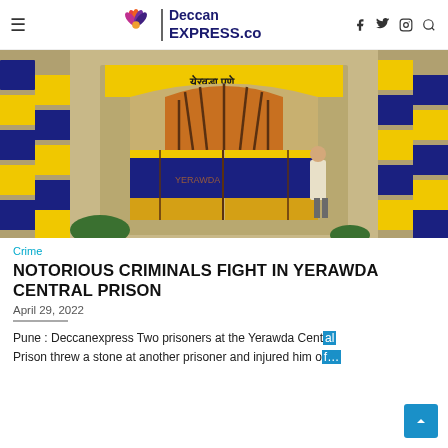≡  Deccan EXPRESS.co  f  twitter  instagram  search
[Figure (photo): Yerawda Central Prison entrance gate with blue and yellow checkered stone wall, large wooden arched doors painted yellow and blue, and a guard standing to the right. Hindi text above the arch reads 'येरवडा पुणे'.]
Crime
NOTORIOUS CRIMINALS FIGHT IN YERAWDA CENTRAL PRISON
April 29, 2022
Pune : Deccanexpress Two prisoners at the Yerawda Central Prison threw a stone at another prisoner and injured him o…